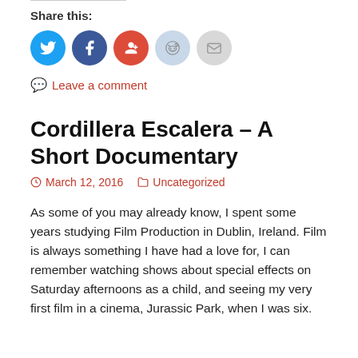Share this:
[Figure (infographic): Social sharing icons: Twitter (blue), Facebook (dark blue), Google+ (red), Reddit (light blue), Email (grey)]
Leave a comment
Cordillera Escalera – A Short Documentary
March 12, 2016    Uncategorized
As some of you may already know, I spent some years studying Film Production in Dublin, Ireland.
Film is always something I have had a love for, I can remember watching shows about special effects on Saturday afternoons as a child, and seeing my very first film in a cinema, Jurassic Park, when I was six.